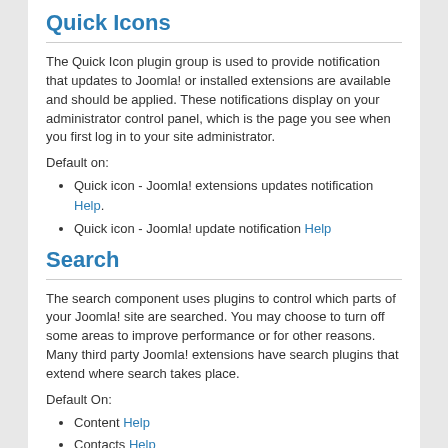Quick Icons
The Quick Icon plugin group is used to provide notification that updates to Joomla! or installed extensions are available and should be applied. These notifications display on your administrator control panel, which is the page you see when you first log in to your site administrator.
Default on:
Quick icon - Joomla! extensions updates notification Help.
Quick icon - Joomla! update notification Help
Search
The search component uses plugins to control which parts of your Joomla! site are searched. You may choose to turn off some areas to improve performance or for other reasons. Many third party Joomla! extensions have search plugins that extend where search takes place.
Default On:
Content Help
Contacts Help